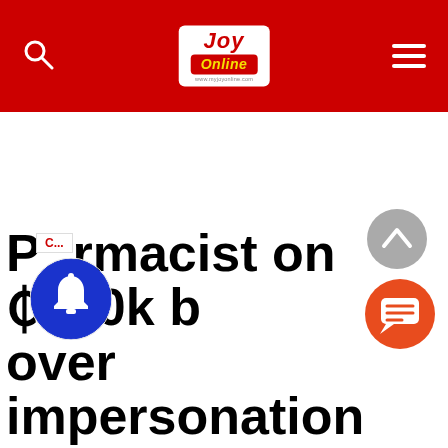JOY Online — www.myjoyonline.com
[Figure (illustration): Large white blank advertisement/content area below the red navigation header]
[Figure (logo): Blue circular notification bell button overlay on bottom-left]
[Figure (illustration): Gray circular scroll-to-top arrow button on bottom-right]
[Figure (illustration): Orange circular chat/comment button on bottom-right below scroll button]
Pharmacist on ₵100k b… over impersonation